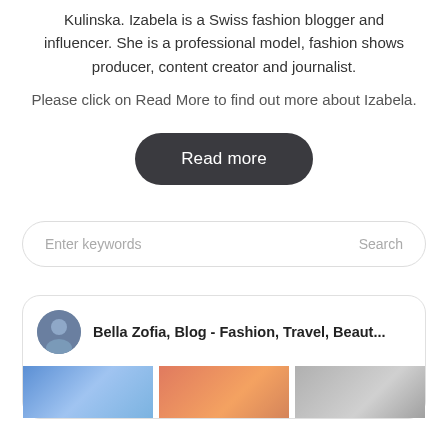Kulinska. Izabela is a Swiss fashion blogger and influencer. She is a professional model, fashion shows producer, content creator and journalist.
Please click on Read More to find out more about Izabela.
Read more
Enter keywords
Search
Bella Zofia, Blog - Fashion, Travel, Beaut...